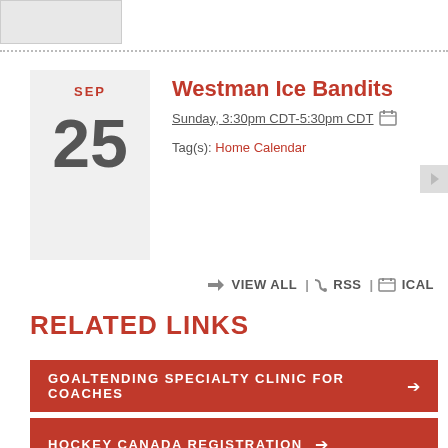[Figure (other): Partial image/logo at top of page, cropped]
Westman Ice Bandits
Sunday, 3:30pm CDT-5:30pm CDT
Tag(s): Home Calendar
→ VIEW ALL | RSS | ICAL
RELATED LINKS
GOALTENDING SPECIALTY CLINIC FOR COACHES →
HOCKEY CANADA REGISTRATION →